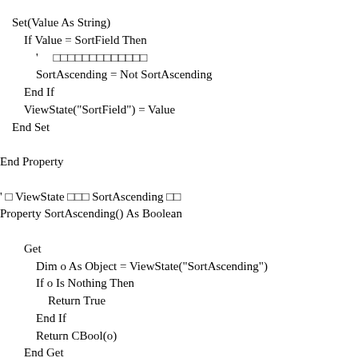Set(Value As String)
    If Value = SortField Then
        ' 　□□□□□□□□□□□□□
        SortAscending = Not SortAscending
    End If
    ViewState("SortField") = Value
End Set

End Property

' □ ViewState □□□ SortAscending □□
Property SortAscending() As Boolean

    Get
        Dim o As Object = ViewState("SortAscending")
        If o Is Nothing Then
            Return True
        End If
        Return CBool(o)
    End Get